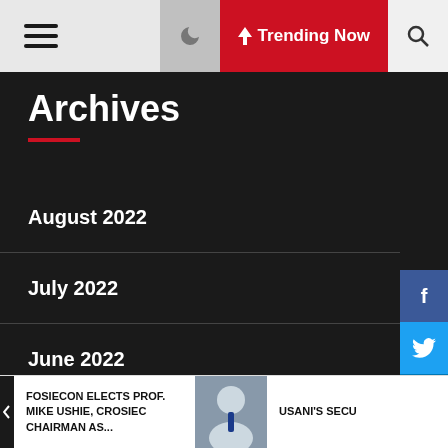≡  ☾  ⚡ Trending Now  🔍
Archives
August 2022
July 2022
June 2022
May 2022
April 2022
March 2022
FOSIECON ELECTS PROF. MIKE USHIE, CROSIEC CHAIRMAN AS...    USANI'S SECU